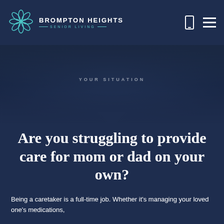BROMPTON HEIGHTS SENIOR LIVING
[Figure (screenshot): Hero image section with dark blue background and 'YOUR SITUATION' text overlay]
Are you struggling to provide care for mom or dad on your own?
Being a caretaker is a full-time job. Whether it's managing your loved one's medications,